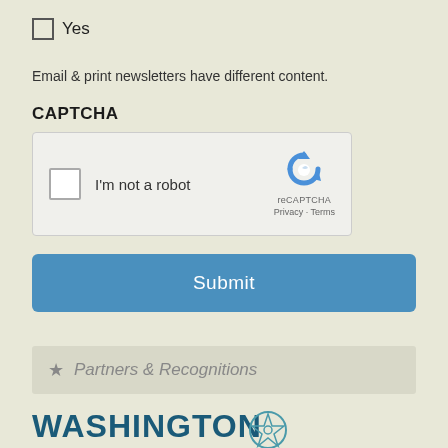Yes
Email & print newsletters have different content.
CAPTCHA
[Figure (screenshot): reCAPTCHA widget with checkbox labeled I'm not a robot and reCAPTCHA logo with Privacy and Terms links]
Submit
★ Partners & Recognitions
[Figure (logo): Washington logo text in dark teal bold font with a partial circular emblem icon]